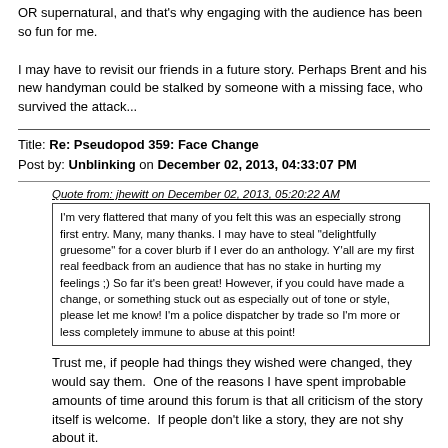OR supernatural, and that's why engaging with the audience has been so fun for me.

I may have to revisit our friends in a future story. Perhaps Brent and his new handyman could be stalked by someone with a missing face, who survived the attack...
Title: Re: Pseudopod 359: Face Change
Post by: Unblinking on December 02, 2013, 04:33:07 PM
Quote from: jhewitt on December 02, 2013, 05:20:22 AM
I'm very flattered that many of you felt this was an especially strong first entry. Many, many thanks. I may have to steal "delightfully gruesome" for a cover blurb if I ever do an anthology. Y'all are my first real feedback from an audience that has no stake in hurting my feelings ;) So far it's been great! However, if you could have made a change, or something stuck out as especially out of tone or style, please let me know! I'm a police dispatcher by trade so I'm more or less completely immune to abuse at this point!
Trust me, if people had things they wished were changed, they would say them.  One of the reasons I have spent improbable amounts of time around this forum is that all criticism of the story itself is welcome.  If people don't like a story, they are not shy about it.
Title: Re: Pseudopod 359: Face Change
Post by: jhewitt on December 03, 2013, 05:24:53 AM
Quote from: Unblinking on December 02, 2013, 04:33:07 PM